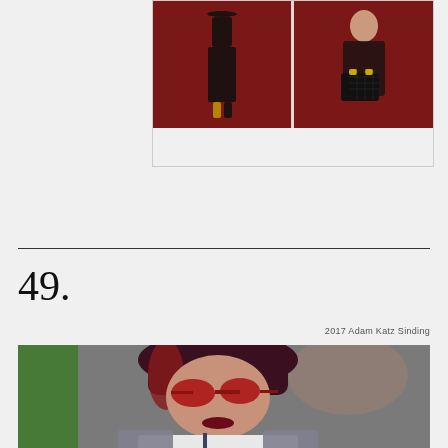[Figure (photo): Dior advertisement showing two fashion models — left: full-length figure in black dress on red background, right: woman in black lace top holding Lady Dior handbag on red background. Bottom bar shows 'AVAILABLE ON DIOR.COM' and 'DIOR' logo.]
49.
2017 Adam Katz Sinding
[Figure (photo): Street style fashion photograph from 2017 by Adam Katz Sinding showing a woman with dark hair wearing red sunglasses, dark red lipstick, a white t-shirt and grey plaid blazer; green clothing visible in background.]